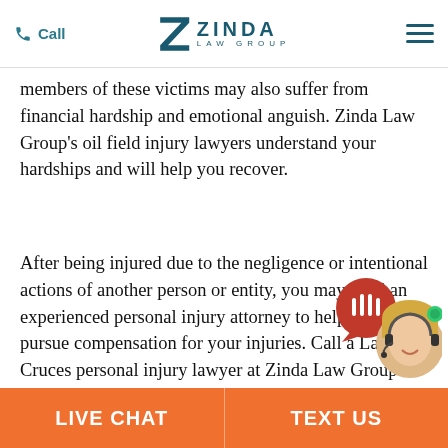Call | ZINDA LAW GROUP
members of these victims may also suffer from financial hardship and emotional anguish. Zinda Law Group’s oil field injury lawyers understand your hardships and will help you recover.
After being injured due to the negligence or intentional actions of another person or entity, you may need an experienced personal injury attorney to help you pursue compensation for your injuries. Call a Las Cruces personal injury lawyer at Zinda Law Group today. We have the skills and experience necessary to help guide you through the entire process, from the initial filing to the final judgment. We are here for you during this difficult
[Figure (illustration): Chat support widget with red microphone bubble and female agent avatar with headset and green online indicator dot]
LIVE CHAT | TEXT US